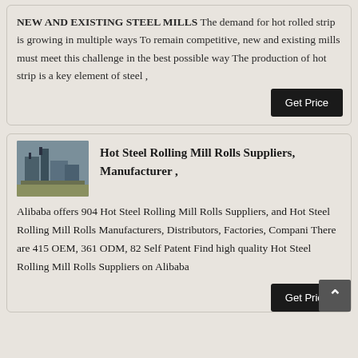NEW AND EXISTING STEEL MILLS The demand for hot rolled strip is growing in multiple ways To remain competitive, new and existing mills must meet this challenge in the best possible way The production of hot strip is a key element of steel ,
Hot Steel Rolling Mill Rolls Suppliers, Manufacturer ,
[Figure (photo): Industrial steel rolling mill facility exterior photo]
Alibaba offers 904 Hot Steel Rolling Mill Rolls Suppliers, and Hot Steel Rolling Mill Rolls Manufacturers, Distributors, Factories, Compani There are 415 OEM, 361 ODM, 82 Self Patent Find high quality Hot Steel Rolling Mill Rolls Suppliers on Alibaba